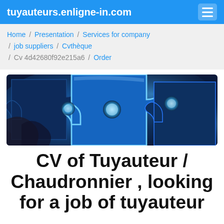tuyauteurs.enligne-in.com
Home / Presentation / Services for company / job suppliers / Cvthèque / Cv 4d42680f92e215a6 / Order
[Figure (photo): Close-up photo of blue glowing puzzle pieces being assembled, dark background with vivid blue light effects]
CV of Tuyauteur / Chaudronnier , looking for a job of tuyauteur